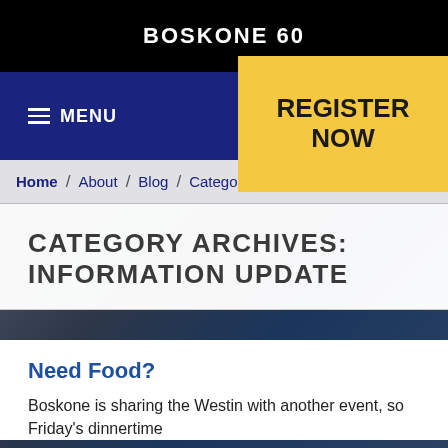BOSKONE 60
MENU
REGISTER NOW
Home / About / Blog / Category Archives
CATEGORY ARCHIVES: INFORMATION UPDATE
Need Food?
Boskone is sharing the Westin with another event, so Friday's dinnertime